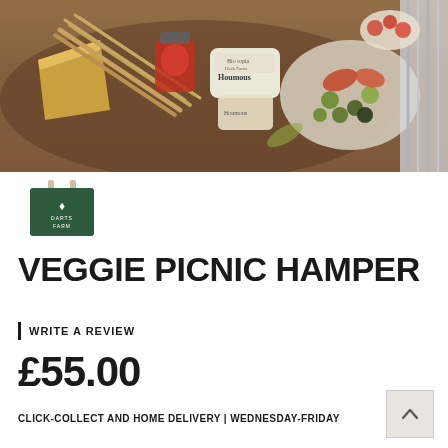[Figure (photo): Product photo showing a picnic spread on a wooden board: cheese, breadsticks, jar of chutney, houmous containers, bowl of mixed olives and roasted peppers, with a striped cloth in the background.]
[Figure (photo): Thumbnail image of a dark green Darts Farm branded tote bag with white logo and text.]
VEGGIE PICNIC HAMPER
WRITE A REVIEW
£55.00
CLICK-COLLECT AND HOME DELIVERY | WEDNESDAY-FRIDAY